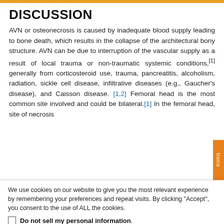DISCUSSION
AVN or osteonecrosis is caused by inadequate blood supply leading to bone death, which results in the collapse of the architectural bony structure. AVN can be due to interruption of the vascular supply as a result of local trauma or non-traumatic systemic conditions,[1] generally from corticosteroid use, trauma, pancreatitis, alcoholism, radiation, sickle cell disease, infiltrative diseases (e.g., Gaucher's disease), and Caisson disease. [1,2] Femoral head is the most common site involved and could be bilateral.[1] In the femoral head, site of necrosis
We use cookies on our website to give you the most relevant experience by remembering your preferences and repeat visits. By clicking “Accept”, you consent to the use of ALL the cookies.
Do not sell my personal information.
Cookie Settings   Accept